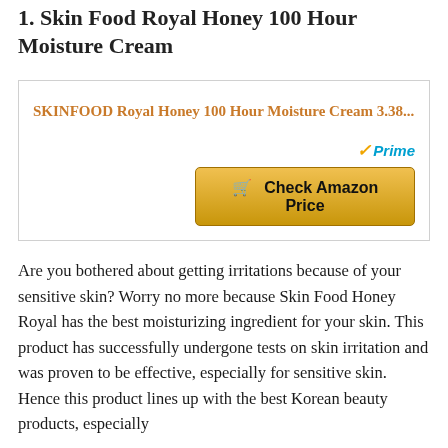1. Skin Food Royal Honey 100 Hour Moisture Cream
[Figure (other): Product listing box with Amazon link for SKINFOOD Royal Honey 100 Hour Moisture Cream 3.38... with Prime badge and Check Amazon Price button]
Are you bothered about getting irritations because of your sensitive skin? Worry no more because Skin Food Honey Royal has the best moisturizing ingredient for your skin. This product has successfully undergone tests on skin irritation and was proven to be effective, especially for sensitive skin. Hence this product lines up with the best Korean beauty products, especially